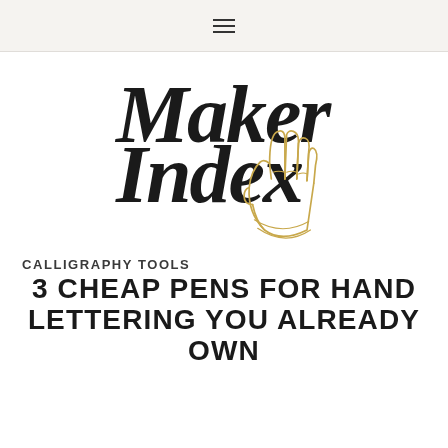☰
[Figure (logo): Maker Index logo with handwritten-style 'Maker Index' text in black and a golden line-art hand illustration]
CALLIGRAPHY TOOLS
3 CHEAP PENS FOR HAND LETTERING YOU ALREADY OWN